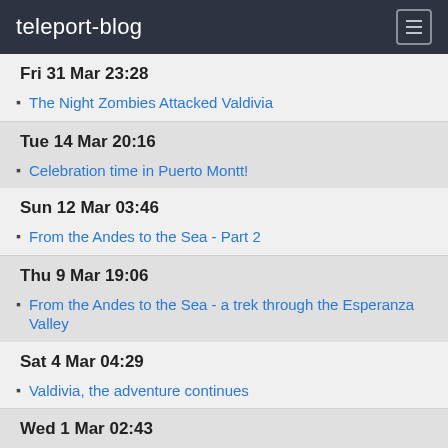teleport-blog
Fri 31 Mar 23:28
The Night Zombies Attacked Valdivia
Tue 14 Mar 20:16
Celebration time in Puerto Montt!
Sun 12 Mar 03:46
From the Andes to the Sea - Part 2
Thu 9 Mar 19:06
From the Andes to the Sea - a trek through the Esperanza Valley
Sat 4 Mar 04:29
Valdivia, the adventure continues
Wed 1 Mar 02:43
An excursion to Northern Patagonia
Feb 2017
Sat 25 Feb 00:33
Heading South once again